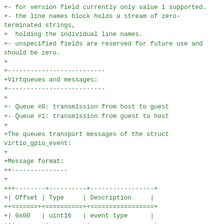+- for version field currently only value 1 supported.
+- the line names block holds a stream of zero-terminated strings,
+  holding the individual line names.
+- unspecified fields are reserved for future use and should be zero.
+
+--------------------------
+Virtqueues and messages:
+--------------------------
+
+- Queue #0: transmission from host to guest
+- Queue #1: transmission from guest to host
+
+The queues transport messages of the struct virtio_gpio_event:
+
+Message format:
++---------------
+
+++--------+----------+-----------------+
+| Offset | Type     | Description     |
++=======++==========++=================+
+| 0x00   | uint16   | event type      |
+++--------+----------+-----------------+
+| 0x02   | uint16   | line id         |
+++--------+----------+-----------------+
+| 0x04   | uint32   | value           |
+++--------+----------+-----------------+
+